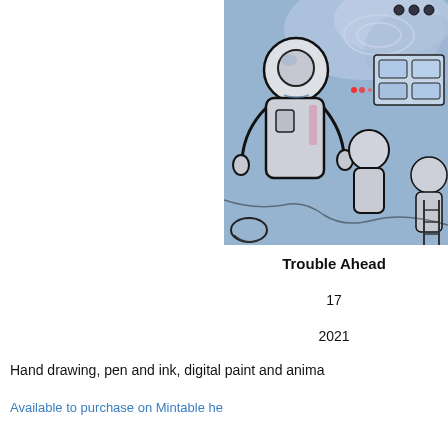[Figure (illustration): A detailed hand-drawn and digitally painted illustration showing astronaut-like figures in a space station cockpit interior, with cosmic nebula visible through windows. Bold black outlines with blue, pink, and purple digital color accents. Cropped at the right edge.]
Trouble Ahead
17
2021
Hand drawing, pen and ink, digital paint and anima
Available to purchase on Mintable he